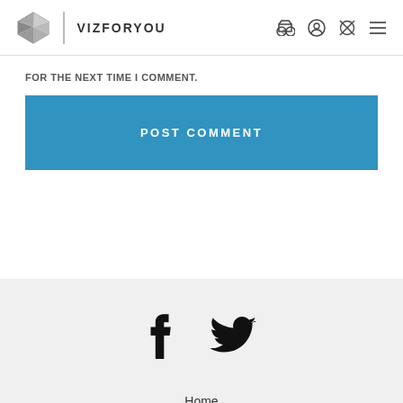VIZFORYOU
FOR THE NEXT TIME I COMMENT.
POST COMMENT
[Figure (illustration): Facebook and Twitter social media icons]
Home
Shop
Freebies
Contact